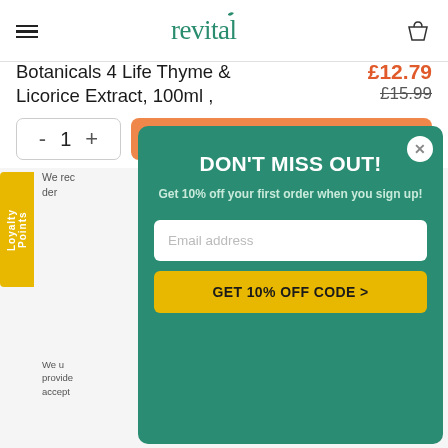revital
Botanicals 4 Life Thyme & Licorice Extract, 100ml ,
£12.79  £15.99
- 1 +  ADD TO BASKET
DON'T MISS OUT!
Get 10% off your first order when you sign up!
Email address
GET 10% OFF CODE >